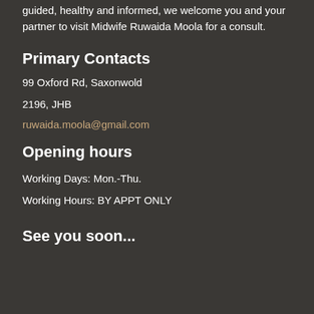guided, healthy and informed, we welcome you and your partner to visit Midwife Ruwaida Moola for a consult.
Primary Contacts
99 Oxford Rd, Saxonwold
2196, JHB
ruwaida.moola@gmail.com
Opening hours
Working Days: Mon.-Thu.
Working Hours: BY APPT ONLY
See you soon...